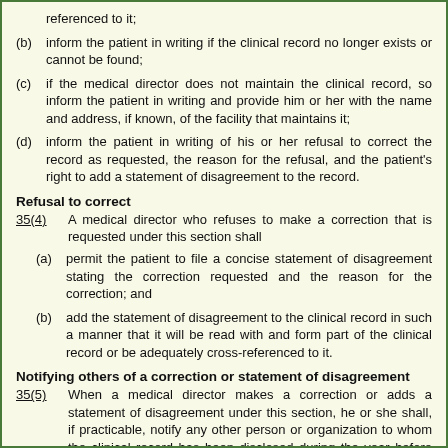referenced to it;
(b) inform the patient in writing if the clinical record no longer exists or cannot be found;
(c) if the medical director does not maintain the clinical record, so inform the patient in writing and provide him or her with the name and address, if known, of the facility that maintains it;
(d) inform the patient in writing of his or her refusal to correct the record as requested, the reason for the refusal, and the patient's right to add a statement of disagreement to the record.
Refusal to correct
35(4)   A medical director who refuses to make a correction that is requested under this section shall
(a) permit the patient to file a concise statement of disagreement stating the correction requested and the reason for the correction; and
(b) add the statement of disagreement to the clinical record in such a manner that it will be read with and form part of the clinical record or be adequately cross-referenced to it.
Notifying others of a correction or statement of disagreement
35(5)   When a medical director makes a correction or adds a statement of disagreement under this section, he or she shall, if practicable, notify any other person or organization to whom the clinical record has been disclosed during the year before the correction was